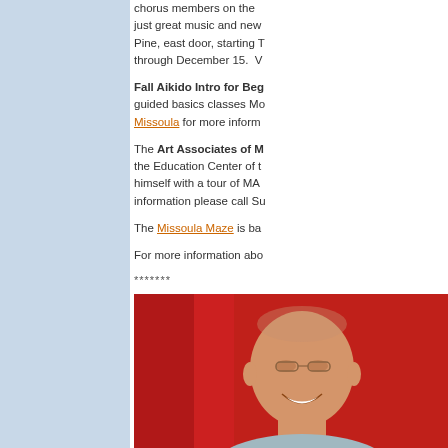chorus members on the ... just great music and new... Pine, east door, starting T... through December 15.  V...
Fall Aikido Intro for Beg... guided basics classes Mo... Missoula for more inform...
The Art Associates of M... the Education Center of t... himself with a tour of MA... information please call Su...
The Missoula Maze is ba...
For more information abo...
*******
[Figure (photo): Portrait photo of a smiling middle-aged man with glasses against a red background]